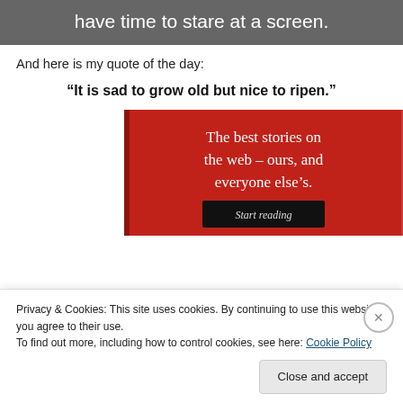have time to stare at a screen.
And here is my quote of the day:
“It is sad to grow old but nice to ripen.”
[Figure (infographic): Red advertisement banner with serif white text reading 'The best stories on the web – ours, and everyone else’s.' and a dark button labeled 'Start reading']
Privacy & Cookies: This site uses cookies. By continuing to use this website, you agree to their use.
To find out more, including how to control cookies, see here: Cookie Policy